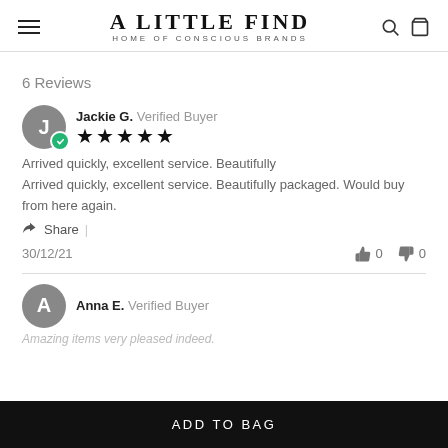A LITTLE FIND — HOME OF CONSCIOUS BRANDS
6 Reviews
Jackie G. Verified Buyer ★★★★★ Arrived quickly, excellent service. Beautifully
Arrived quickly, excellent service. Beautifully packaged. Would buy from here again.
Share | 30/12/21 👍 0 👎 0
Anna E. Verified Buyer
Amazing items very pleased indeed.
ADD TO BAG